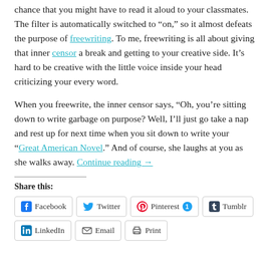chance that you might have to read it aloud to your classmates. The filter is automatically switched to “on,” so it almost defeats the purpose of freewriting. To me, freewriting is all about giving that inner censor a break and getting to your creative side. It’s hard to be creative with the little voice inside your head criticizing your every word.
When you freewrite, the inner censor says, “Oh, you’re sitting down to write garbage on purpose? Well, I’ll just go take a nap and rest up for next time when you sit down to write your “Great American Novel.” And of course, she laughs at you as she walks away. Continue reading →
Share this:
Facebook
Twitter
Pinterest 1
Tumblr
LinkedIn
Email
Print